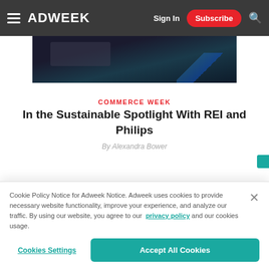ADWEEK — Sign In | Subscribe
[Figure (photo): Dark background hero image showing a stage or event scene with blue lighting and diagonal light streaks]
COMMERCE WEEK
In the Sustainable Spotlight With REI and Philips
By Alexandra Bower
Cookie Policy Notice for Adweek Notice. Adweek uses cookies to provide necessary website functionality, improve your experience, and analyze our traffic. By using our website, you agree to our privacy policy and our cookies usage.
Cookies Settings | Accept All Cookies